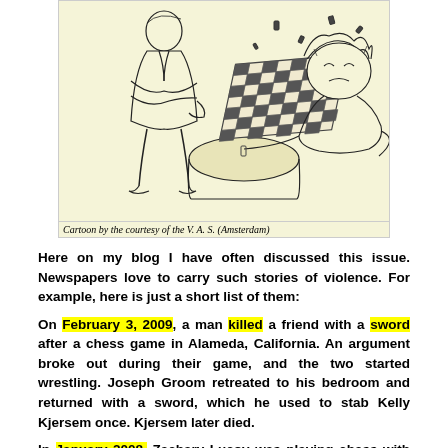[Figure (illustration): A line-art cartoon illustration of two chess players at a table, with chess pieces flying in the air, set against a light yellow background.]
Cartoon by the courtesy of the V. A. S. (Amsterdam)
Here on my blog I have often discussed this issue. Newspapers love to carry such stories of violence. For example, here is just a short list of them:
On February 3, 2009, a man killed a friend with a sword after a chess game in Alameda, California. An argument broke out during their game, and the two started wrestling. Joseph Groom retreated to his bedroom and returned with a sword, which he used to stab Kelly Kjersem once. Kjersem later died.
In January 2008, Zachary Lucov was playing chess with Dennis